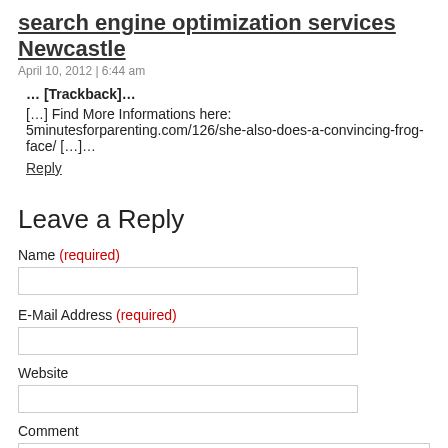search engine optimization services Newcastle
April 10, 2012 | 6:44 am
… [Trackback]…
[…] Find More Informations here: 5minutesforparenting.com/126/she-also-does-a-convincing-frog-face/ […]…
Reply
Leave a Reply
Name (required)
E-Mail Address (required)
Website
Comment